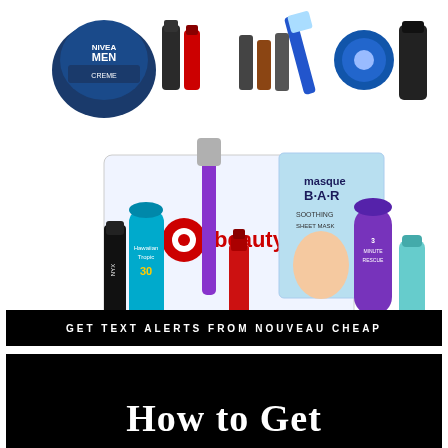[Figure (photo): Top image showing Nivea Men products, razor, and other beauty/grooming products arranged on white background]
[Figure (photo): Target beauty box with assorted beauty products including NYX concealer, Hawaiian Tropic sunscreen, red nail polish, purple razor, masque bar sheet mask, Suave purple bottle, and small teal bottle arranged on white background]
GET TEXT ALERTS FROM NOUVEAU CHEAP
How to Get